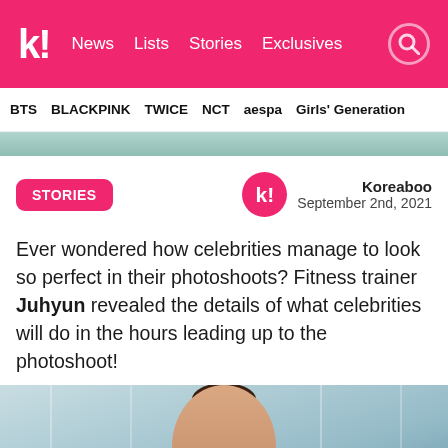k! News Lists Stories Exclusives
BTS BLACKPINK TWICE NCT aespa Girls' Generation
[Figure (photo): Partial hero image at top of article]
STORIES
Koreaboo
September 2nd, 2021
Ever wondered how celebrities manage to look so perfect in their photoshoots? Fitness trainer Juhyun revealed the details of what celebrities will do in the hours leading up to the photoshoot!
[Figure (photo): Photo of a person with hair in a bun, outdoors near glass building]